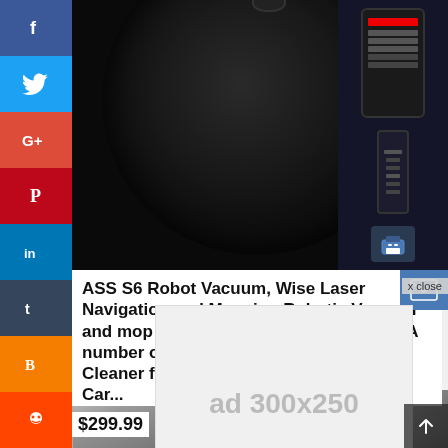[Figure (screenshot): Social media share buttons sidebar: Facebook (blue), Twitter (light blue), Google+ (red), Pinterest (dark red), LinkedIn (blue), Tumblr (dark navy), Blogger (orange), Reddit (orange-red)]
[Figure (photo): Black robot vacuum cleaner top-down view on dark background, with smartphone app and remote control icons visible in upper right]
ASS S6 Robot Vacuum, Wise Laser Navigation and Mapping Robotic Vacuum and mop Combo, 4100Pa Solid Suction, A number of-Floor Mapping Robot Vacuum Cleaner for Tricky Floors to Medium-Pile Car...
$299.99
[Figure (screenshot): Advertisement placeholder showing 'ad 300x250' in grey text on light grey background]
[Figure (photo): Bottom strip showing partial product images including what appears to be a tattoo sleeve arm warmer on the left and decorative item on the right]